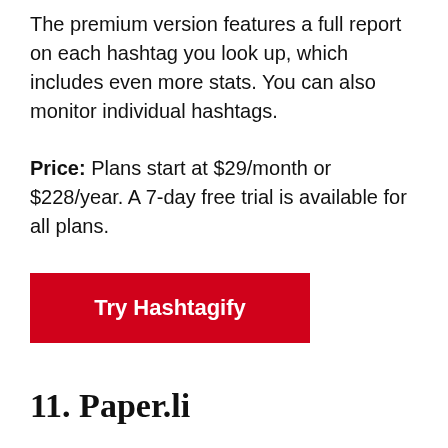The premium version features a full report on each hashtag you look up, which includes even more stats. You can also monitor individual hashtags.
Price: Plans start at $29/month or $228/year. A 7-day free trial is available for all plans.
[Figure (other): Red call-to-action button labeled 'Try Hashtagify']
11. Paper.li